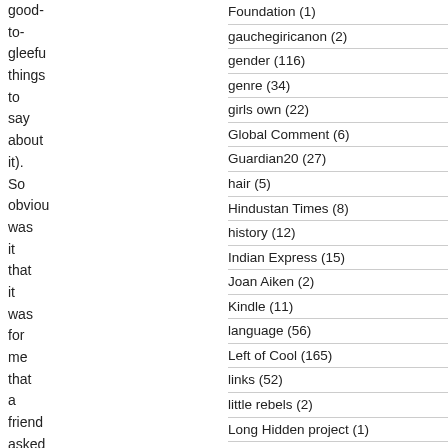good-to-gleeful things to say about it). So obvious was it that it was for me that a friend asked if I was sure
Foundation (1)
gauchegiricanon (2)
gender (116)
genre (34)
girls own (22)
Global Comment (6)
Guardian20 (27)
hair (5)
Hindustan Times (8)
history (12)
Indian Express (15)
Joan Aiken (2)
Kindle (11)
language (56)
Left of Cool (165)
links (52)
little rebels (2)
Long Hidden project (1)
madras (5)
Marlow readthrough (6)
Mervyn Peake (13)
meta (3)
Mint (7)
movies (55)
music (21)
my god it's full of sparkles (9)
mystery (8)
myth (14)
Nat Geo Traveller (5)
Not The Carnegie shortlist (8)